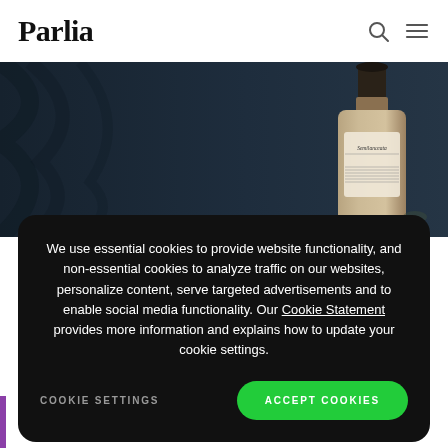Parlia
[Figure (photo): Dark moody photo of a vintage bottle labeled 'Semilanceata' against dark blue draped fabric background]
We use essential cookies to provide website functionality, and non-essential cookies to analyze traffic on our websites, personalize content, serve targeted advertisements and to enable social media functionality. Our Cookie Statement provides more information and explains how to update your cookie settings.
COOKIE SETTINGS
ACCEPT COOKIES
becomes Orthodox